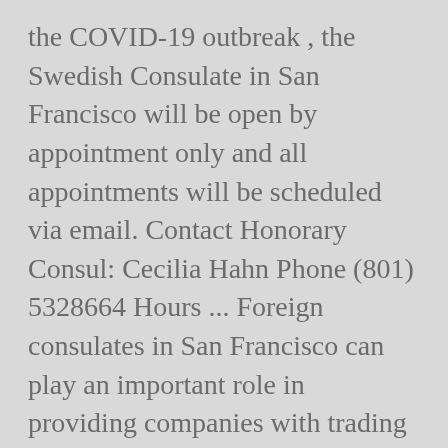the COVID-19 outbreak , the Swedish Consulate in San Francisco will be open by appointment only and all appointments will be scheduled via email. Contact Honorary Consul: Cecilia Hahn Phone (801) 5328664 Hours ... Foreign consulates in San Francisco can play an important role in providing companies with trading information on foreign countries as well as import and export regulations. Washington, DC 20007 Postal address Embassy of Sweden 2900 K Street, N.W. We offer the following services: The Consulate of Sweden in Arizona can help Swedish Citizens with: Passports Emergency passports Driver's licenses Applications for